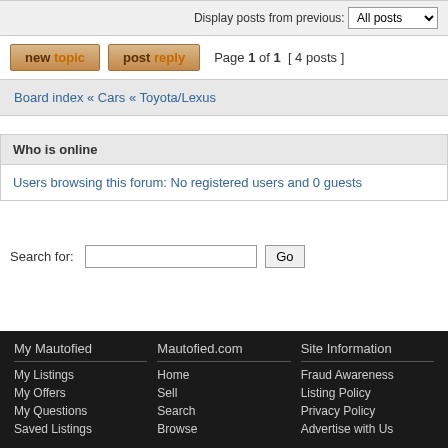Display posts from previous: All posts
new topic  post reply  Page 1 of 1  [ 4 posts ]
Board index « Cars « Toyota/Lexus
Who is online
Users browsing this forum: No registered users and 0 guests
Search for:  [input]  Go
My Mautofied | Mautofied.com | Site Information | My Listings | Home | Fraud Awareness | My Offers | Sell | Listing Policy | My Questions | Search | Privacy Policy | Saved Listings | Browse | Advertise with Us